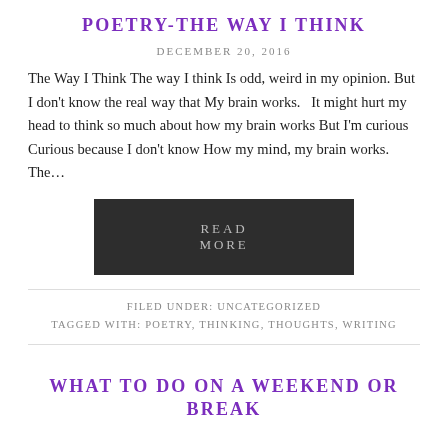POETRY-THE WAY I THINK
DECEMBER 20, 2016
The Way I Think The way I think Is odd, weird in my opinion. But I don't know the real way that My brain works.   It might hurt my head to think so much about how my brain works But I'm curious Curious because I don't know How my mind, my brain works. The…
[Figure (other): Dark button with text READ MORE]
FILED UNDER: UNCATEGORIZED
TAGGED WITH: POETRY, THINKING, THOUGHTS, WRITING
WHAT TO DO ON A WEEKEND OR BREAK